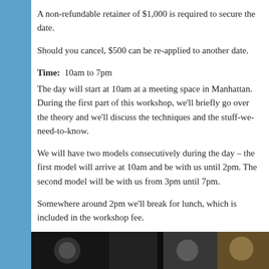A non-refundable retainer of $1,000 is required to secure the date.
Should you cancel, $500 can be re-applied to another date.
Time:  10am to 7pm
The day will start at 10am at a meeting space in Manhattan. During the first part of this workshop, we’ll briefly go over the theory and we’ll discuss the techniques and the stuff-we-need-to-know.
We will have two models consecutively during the day – the first model will arrive at 10am and be with us until 2pm. The second model will be with us from 3pm until 7pm.
Somewhere around 2pm we’ll break for lunch, which is included in the workshop fee.
[Figure (photo): A dark horizontal photo strip at the bottom of the page showing workshop or photography-related imagery]